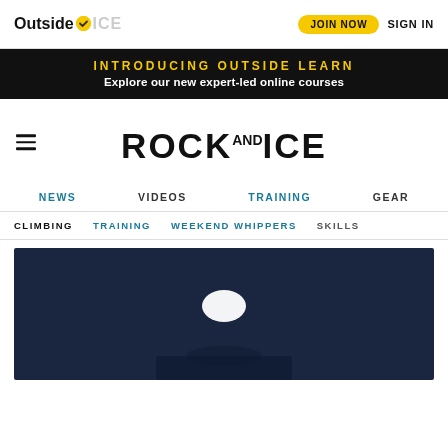Outside + ROCK AND ICE | JOIN NOW | SIGN IN
INTRODUCING OUTSIDE LEARN
Explore our new expert-led online courses
ROCK AND ICE
NEWS | VIDEOS | TRAINING | GEAR
CLIMBING | TRAINING | WEEKEND WHIPPERS | SKILLS
[Figure (screenshot): Dark navy blue video thumbnail with a white oval play button icon at center]